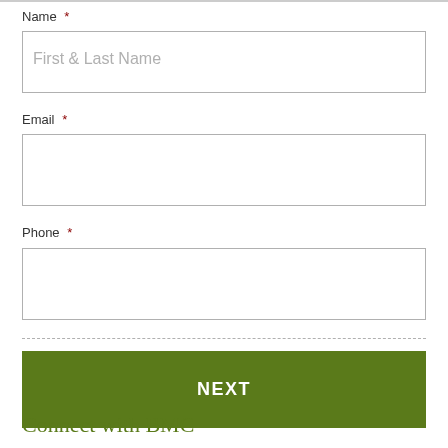Name *
First & Last Name
Email *
Phone *
NEXT
Connect with BMC